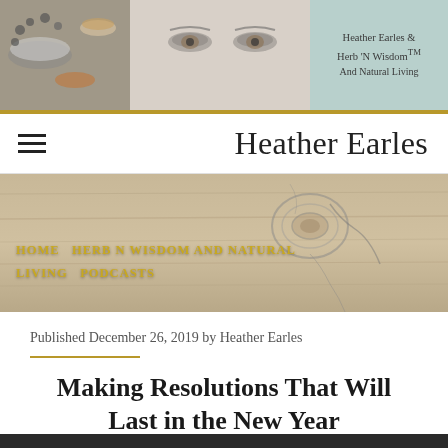[Figure (photo): Website banner header with spices/herbs on left side and a woman's face in grayscale, with teal background on right showing blog name]
Heather Earles & Herb 'N Wisdom™ And Natural Living
Heather Earles
[Figure (photo): Hero background image of weathered wood texture with navigation menu overlay]
HOME   HERB N WISDOM AND NATURAL LIVING   PODCASTS
Published December 26, 2019 by Heather Earles
Making Resolutions That Will Last in the New Year